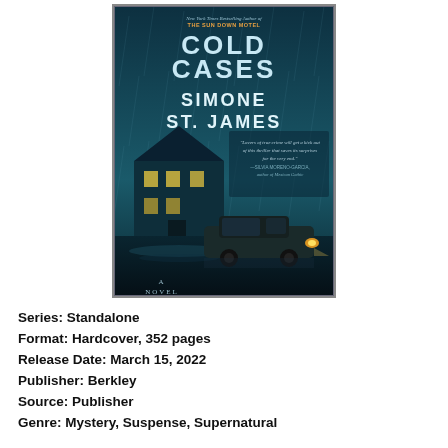[Figure (illustration): Book cover for a novel featuring the title 'Cold Cases' and author 'Simone St. James'. The cover shows a dark, rainy night scene with a house with lit windows and a car driving through flooded streets. The top reads 'New York Times Bestselling Author of THE SUN DOWN MOTEL'. There is a blurb from Silvia Moreno-Garcia. The bottom reads 'A NOVEL'.]
Series: Standalone
Format: Hardcover, 352 pages
Release Date: March 15, 2022
Publisher: Berkley
Source: Publisher
Genre: Mystery, Suspense, Supernatural
A true crime blogger gets more than she bargained for while interviewing the woman acquitted of two cold case slayings in this chilling new novel from the New York Times bestselling author of The Sun Down Motel.